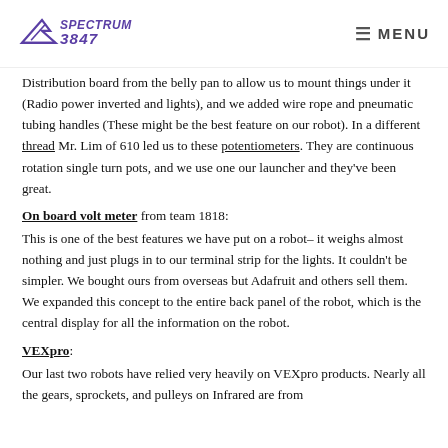Spectrum 3847 | MENU
Distribution board from the belly pan to allow us to mount things under it (Radio power inverted and lights), and we added wire rope and pneumatic tubing handles (These might be the best feature on our robot). In a different thread Mr. Lim of 610 led us to these potentiometers. They are continuous rotation single turn pots, and we use one our launcher and they've been great.
On board volt meter from team 1818:
This is one of the best features we have put on a robot– it weighs almost nothing and just plugs in to our terminal strip for the lights. It couldn't be simpler. We bought ours from overseas but Adafruit and others sell them. We expanded this concept to the entire back panel of the robot, which is the central display for all the information on the robot.
VEXpro:
Our last two robots have relied very heavily on VEXpro products. Nearly all the gears, sprockets, and pulleys on Infrared are from